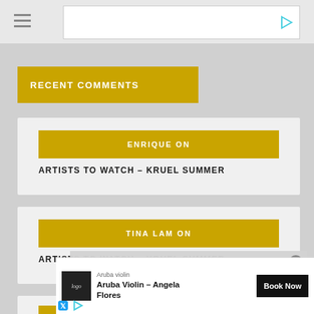Recent Comments
RECENT COMMENTS
ENRIQUE ON
ARTISTS TO WATCH – KRUEL SUMMER
TINA LAM ON
ARTISTS TO WATCH – KRUEL SUMMER
SHELLY ON
ARTISTS TO WATCH – KRUEL SUMMER
No compatible source was found for this
Aruba Violin
Aruba Violin – Angela Flores
Book Now